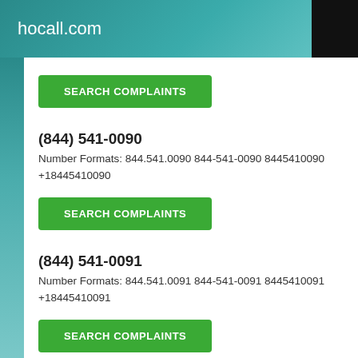hocall.com
[Figure (screenshot): Green SEARCH COMPLAINTS button]
(844) 541-0090
Number Formats: 844.541.0090 844-541-0090 8445410090 +18445410090
[Figure (screenshot): Green SEARCH COMPLAINTS button]
(844) 541-0091
Number Formats: 844.541.0091 844-541-0091 8445410091 +18445410091
[Figure (screenshot): Green SEARCH COMPLAINTS button]
(844) 541-0092
Number Formats: 844.541.0092 844-541-0092 8445410092 +18445410092